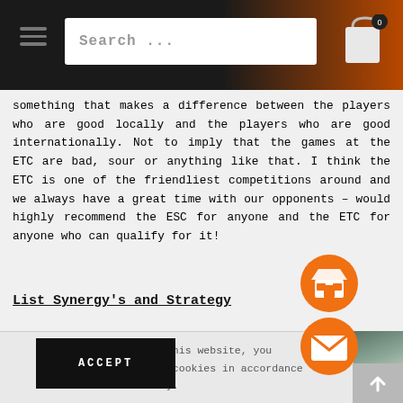[Figure (screenshot): Website navigation bar with hamburger menu icon, search bar showing 'Search...', and shopping cart icon with badge showing 0]
something that makes a difference between the players who are good locally and the players who are good internationally. Not to imply that the games at the ETC are bad, sour or anything like that. I think the ETC is one of the friendliest competitions around and we always have a great time with our opponents – would highly recommend the ESC for anyone and the ETC for anyone who can qualify for it!
List Synergy's and Strategy
By continuing to use this website, you consent to the use of cookies in accordance with our Cookie Policy.
[Figure (photo): Partial right-side image strip showing what appears to be a gaming or sports scene]
[Figure (illustration): Orange circular icons: store/shop icon and mail/envelope icon]
[Figure (other): Grey scroll-to-top button with upward arrow]